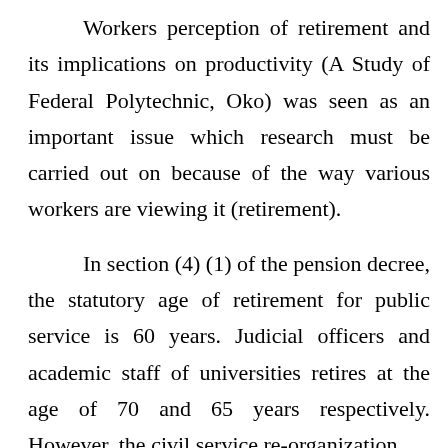Workers perception of retirement and its implications on productivity (A Study of Federal Polytechnic, Oko) was seen as an important issue which research must be carried out on because of the way various workers are viewing it (retirement).

In section (4) (1) of the pension decree, the statutory age of retirement for public service is 60 years. Judicial officers and academic staff of universities retires at the age of 70 and 65 years respectively. However, the civil service re-organization